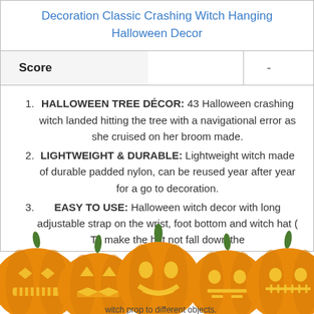Decoration Classic Crashing Witch Hanging Halloween Decor
| Score | - |
| --- | --- |
HALLOWEEN TREE DÉCOR: 43 Halloween crashing witch landed hitting the tree with a navigational error as she cruised on her broom made.
LIGHTWEIGHT & DURABLE: Lightweight witch made of durable padded nylon, can be reused year after year for a go to decoration.
EASY TO USE: Halloween witch decor with long adjustable strap on the wrist, foot bottom and witch hat ( To make the hat not fall down the ... igh ...
[Figure (illustration): Row of five orange jack-o-lantern pumpkins with carved faces, overlapping the document content at the bottom of the page.]